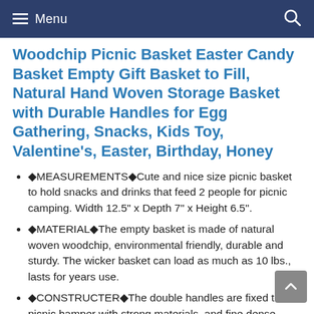Menu
Woodchip Picnic Basket Easter Candy Basket Empty Gift Basket to Fill, Natural Hand Woven Storage Basket with Durable Handles for Egg Gathering, Snacks, Kids Toy, Valentine's, Easter, Birthday, Honey
🔷MEASUREMENTS🔷Cute and nice size picnic basket to hold snacks and drinks that feed 2 people for picnic camping. Width 12.5" x Depth 7" x Height 6.5".
🔷MATERIAL🔷The empty basket is made of natural woven woodchip, environmental friendly, durable and sturdy. The wicker basket can load as much as 10 lbs., lasts for years use.
🔷CONSTRUCTER🔷The double handles are fixed to picnic hamper with strong materials, and fine dense woven workmanship, not rickety as